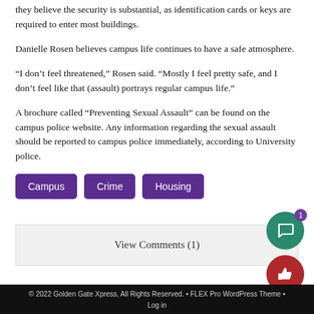they believe the security is substantial, as identification cards or keys are required to enter most buildings.
Danielle Rosen believes campus life continues to have a safe atmosphere.
“I don’t feel threatened,” Rosen said. “Mostly I feel pretty safe, and I don’t feel like that (assault) portrays regular campus life.”
A brochure called “Preventing Sexual Assault” can be found on the campus police website. Any information regarding the sexual assault should be reported to campus police immediately, according to University police.
Campus
Crime
Housing
View Comments (1)
© 2022 Golden Gate Xpress, All Rights Reserved. • FLEX Pro WordPress Theme • Log in